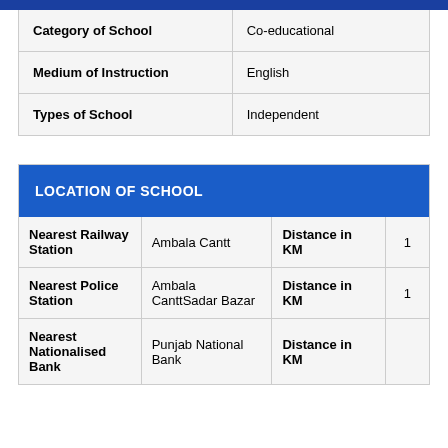| Field | Value |
| --- | --- |
| Category of School | Co-educational |
| Medium of Instruction | English |
| Types of School | Independent |
LOCATION OF SCHOOL
|  |  | Distance in KM |  |
| --- | --- | --- | --- |
| Nearest Railway Station | Ambala Cantt | Distance in KM | 1 |
| Nearest Police Station | Ambala CanttSadar Bazar | Distance in KM | 1 |
| Nearest Nationalised Bank | Punjab National Bank | Distance in KM |  |